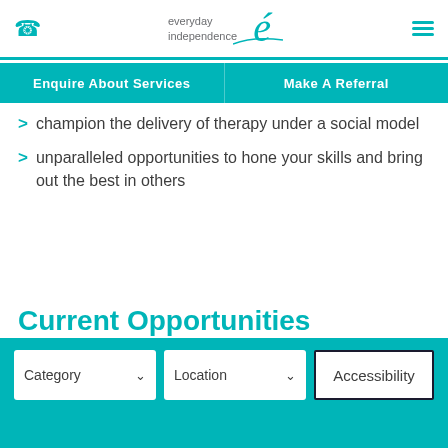everyday independence — navigation header with phone icon and menu icon
Enquire About Services | Make A Referral
champion the delivery of therapy under a social model
unparalleled opportunities to hone your skills and bring out the best in others
Current Opportunities
Category dropdown | Location dropdown | Accessibility button